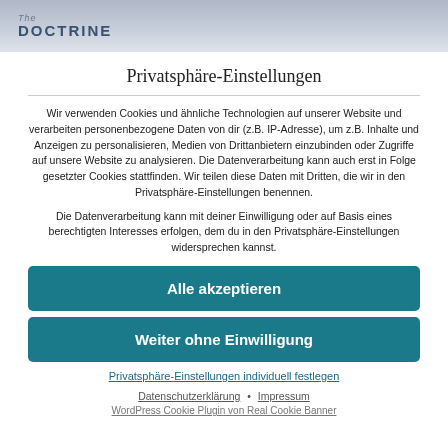[Figure (screenshot): Website header with blurred background showing 'The DOCTRINE' logo in blue-gray tones]
Privatsphäre-Einstellungen
Wir verwenden Cookies und ähnliche Technologien auf unserer Website und verarbeiten personenbezogene Daten von dir (z.B. IP-Adresse), um z.B. Inhalte und Anzeigen zu personalisieren, Medien von Drittanbietern einzubinden oder Zugriffe auf unsere Website zu analysieren. Die Datenverarbeitung kann auch erst in Folge gesetzter Cookies stattfinden. Wir teilen diese Daten mit Dritten, die wir in den Privatsphäre-Einstellungen benennen.
Die Datenverarbeitung kann mit deiner Einwilligung oder auf Basis eines berechtigten Interesses erfolgen, dem du in den Privatsphäre-Einstellungen widersprechen kannst.
Alle akzeptieren
Weiter ohne Einwilligung
Privatsphäre-Einstellungen individuell festlegen
Datenschutzerklärung • Impressum
WordPress Cookie Plugin von Real Cookie Banner